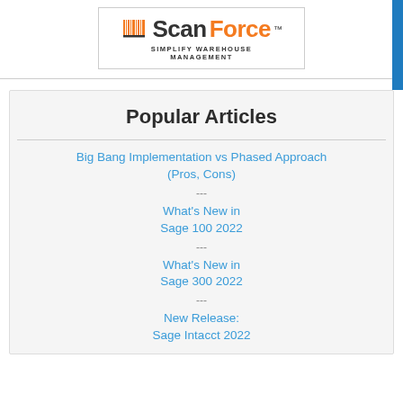[Figure (logo): ScanForce logo with barcode icon and tagline SIMPLIFY WAREHOUSE MANAGEMENT]
Popular Articles
Big Bang Implementation vs Phased Approach (Pros, Cons)
What's New in Sage 100 2022
What's New in Sage 300 2022
New Release: Sage Intacct 2022